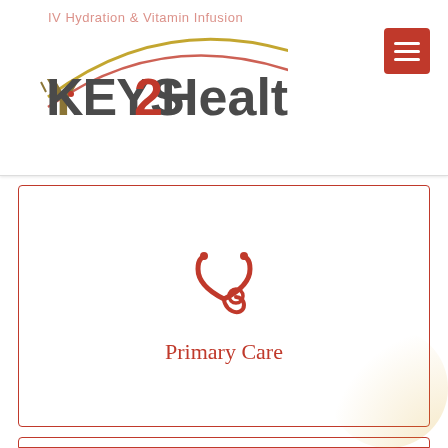[Figure (logo): Keys2Health logo with tagline 'IV Hydration & Vitamin Infusion' and decorative arc curves in red and gold]
[Figure (illustration): Stethoscope icon in red]
Primary Care
[Figure (illustration): Coronavirus / COVID virus icon in red]
COVID Testing